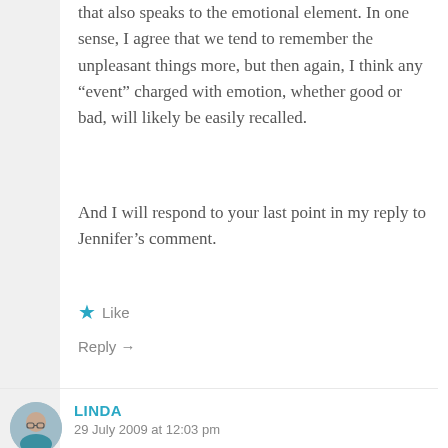that also speaks to the emotional element. In one sense, I agree that we tend to remember the unpleasant things more, but then again, I think any “event” charged with emotion, whether good or bad, will likely be easily recalled.
And I will respond to your last point in my reply to Jennifer’s comment.
★ Like
Reply →
LINDA
29 July 2009 at 12:03 pm
Neil, your name is not linked to your blog, but I